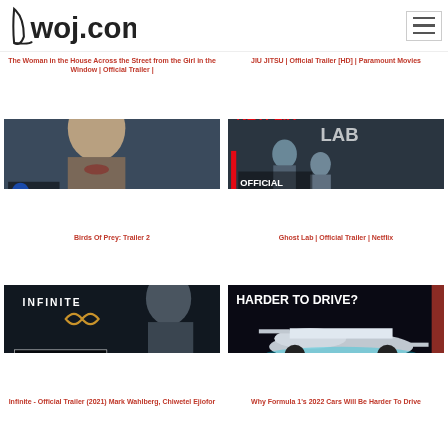4woj.com
The Woman in the House Across the Street from the Girl in the Window | Official Trailer |
JIU JITSU | Official Trailer [HD] | Paramount Movies
[Figure (screenshot): Birds of Prey DC Official Trailer thumbnail - woman with blond hair]
[Figure (screenshot): Ghost Lab Netflix Official Trailer thumbnail]
Birds Of Prey: Trailer 2
Ghost Lab | Official Trailer | Netflix
[Figure (screenshot): Infinite Official Trailer 2021 thumbnail - man with Infinite logo]
[Figure (screenshot): 2022 Cars Harder To Drive F1 thumbnail]
Infinite - Official Trailer (2021) Mark Wahlberg, Chiwetel Ejiofor
Why Formula 1's 2022 Cars Will Be Harder To Drive